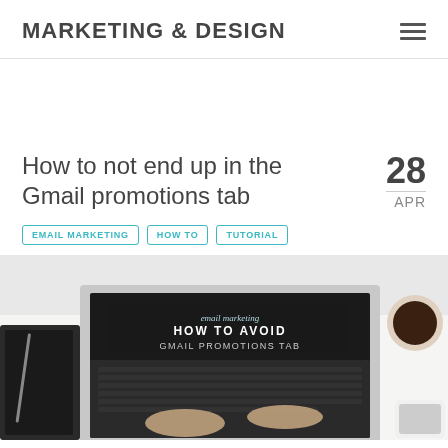MARKETING & DESIGN
How to not end up in the Gmail promotions tab
28 APR
EMAIL MARKETING
HOW TO
TUTORIAL
[Figure (photo): Laptop on a white desk with a dark overlay banner reading 'email marketing HOW TO AVOID GMAIL PROMOTIONS TAB', with a notebook, pen, coffee cup, and smartphone surrounding it.]